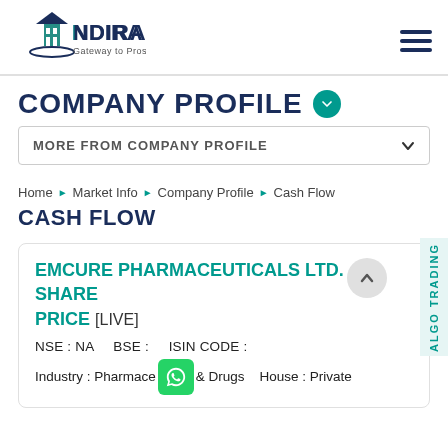Indira — Gateway to Prosperity (logo and hamburger menu)
COMPANY PROFILE
MORE FROM COMPANY PROFILE
Home ▶ Market Info ▶ Company Profile ▶ Cash Flow
CASH FLOW
EMCURE PHARMACEUTICALS LTD. SHARE PRICE [LIVE]
NSE : NA    BSE :    ISIN CODE :
Industry : Pharmaceuticals & Drugs    House : Private